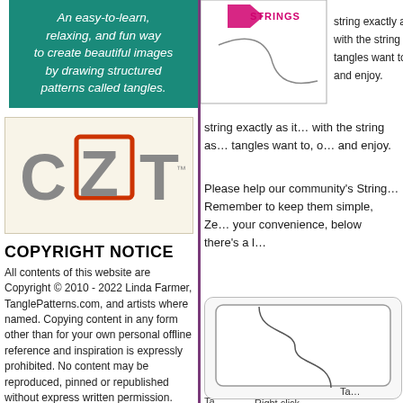[Figure (illustration): Teal/green box with white italic text: 'An easy-to-learn, relaxing, and fun way to create beautiful images by drawing structured patterns called tangles.']
[Figure (logo): CZT logo on cream background — letters C, Z, T in grey with Z highlighted in an orange-red hand-drawn square frame]
COPYRIGHT NOTICE
All contents of this website are Copyright © 2010 - 2022 Linda Farmer, TanglePatterns.com, and artists where named. Copying content in any form other than for your own personal offline reference and inspiration is expressly prohibited. No content may be reproduced, pinned or republished without express written permission. Commercial use of any content is prohibited. ALL RIGHTS RESERVED.
[Figure (photo): Photo with text overlay: 'Artists For RESPECT']
[Figure (illustration): String art reference image showing a tile with pink/magenta STRINGS logo at top and line art of a string on the tile]
string exactly as it… with the string as… tangles want to, o… and enjoy.
Please help our community's String… Remember to keep them simple, Ze… your convenience, below there's a l…
[Figure (illustration): Blank Zentangle tile with a simple S-curve string drawn on it, partially visible]
Ta…
Right click…